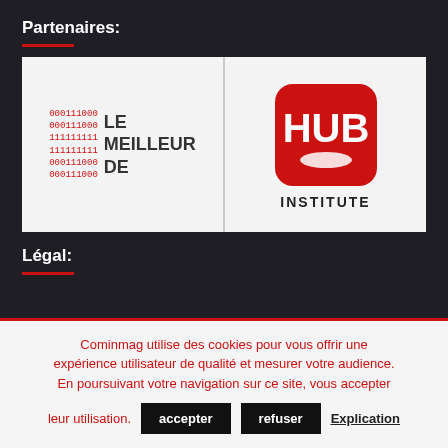Partenaires:
[Figure (logo): Le Meilleur De logo with binary code in red on the left and text 'LE MEILLEUR DE' in dark gray on the right]
[Figure (logo): HUB Institute logo with red rounded square badge containing white HUB text and white oval, with INSTITUTE text below in black]
Légal:
Cominmag utilise des cookies pour vous offrir une expérience utilisateur de qualité et mesurer votre audience. En poursuivant votre navigation sur ce site, vous accepter leur utilisation. accepter refuser Explication